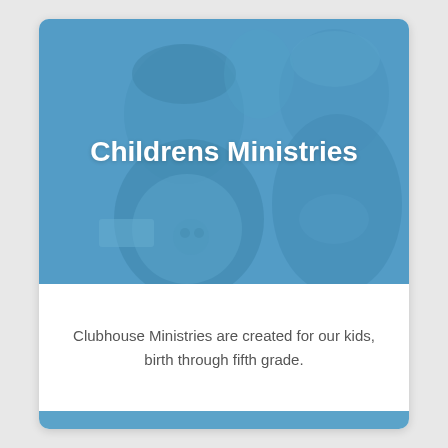[Figure (photo): Blue-tinted photo of two children looking upward, used as background for the Childrens Ministries card header]
Childrens Ministries
Clubhouse Ministries are created for our kids, birth through fifth grade.